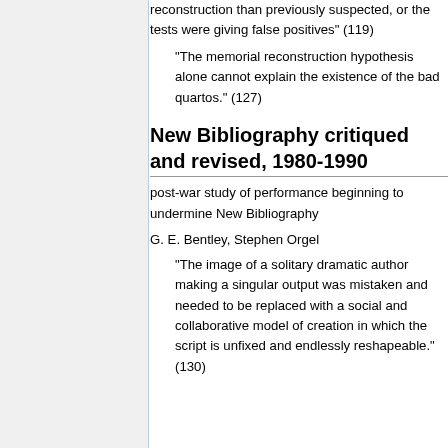reconstruction than previously suspected, or the tests were giving false positives" (119)
"The memorial reconstruction hypothesis alone cannot explain the existence of the bad quartos." (127)
New Bibliography critiqued and revised, 1980-1990
post-war study of performance beginning to undermine New Bibliography
G. E. Bentley, Stephen Orgel
"The image of a solitary dramatic author making a singular output was mistaken and needed to be replaced with a social and collaborative model of creation in which the script is unfixed and endlessly reshapeable." (130)